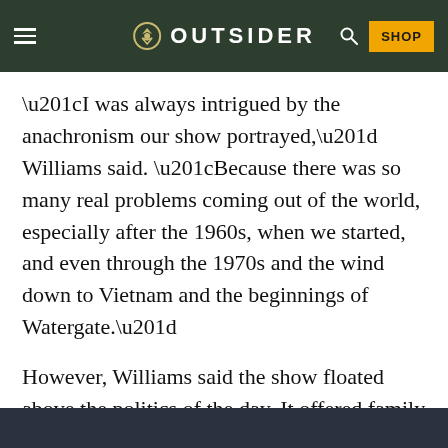OUTSIDER
“I was always intrigued by the anachronism our show portrayed,” Williams said. “Because there was so many real problems coming out of the world, especially after the 1960s, when we started, and even through the 1970s and the wind down to Vietnam and the beginnings of Watergate.”
However, Williams said the show floated above the politics of the day. It offered family values and good cheer as the country was falling